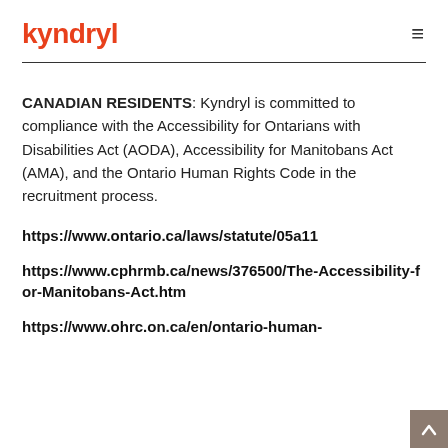kyndryl
CANADIAN RESIDENTS: Kyndryl is committed to compliance with the Accessibility for Ontarians with Disabilities Act (AODA), Accessibility for Manitobans Act (AMA), and the Ontario Human Rights Code in the recruitment process.
https://www.ontario.ca/laws/statute/05a11
https://www.cphrmb.ca/news/376500/The-Accessibility-for-Manitobans-Act.htm
https://www.ohrc.on.ca/en/ontario-human-